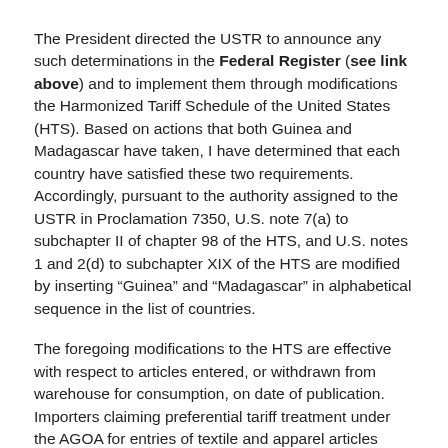The President directed the USTR to announce any such determinations in the Federal Register (see link above) and to implement them through modifications the Harmonized Tariff Schedule of the United States (HTS). Based on actions that both Guinea and Madagascar have taken, I have determined that each country have satisfied these two requirements. Accordingly, pursuant to the authority assigned to the USTR in Proclamation 7350, U.S. note 7(a) to subchapter II of chapter 98 of the HTS, and U.S. notes 1 and 2(d) to subchapter XIX of the HTS are modified by inserting “Guinea” and “Madagascar” in alphabetical sequence in the list of countries.
The foregoing modifications to the HTS are effective with respect to articles entered, or withdrawn from warehouse for consumption, on date of publication. Importers claiming preferential tariff treatment under the AGOA for entries of textile and apparel articles should ensure that those entries meet the applicable visa requirements. See Visa Requirements Under the African Growth and Opportunity Act, 66 FR 7837 (2001).